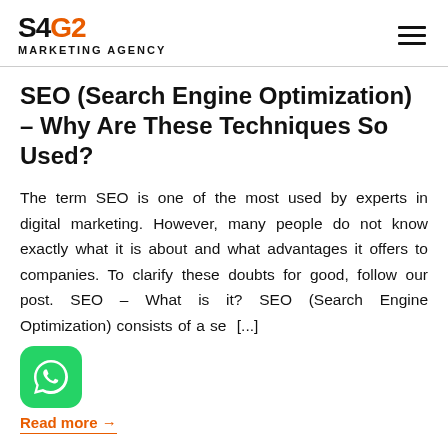S4G2 MARKETING AGENCY
SEO (Search Engine Optimization) – Why Are These Techniques So Used?
The term SEO is one of the most used by experts in digital marketing. However, many people do not know exactly what it is about and what advantages it offers to companies. To clarify these doubts for good, follow our post. SEO – What is it? SEO (Search Engine Optimization) consists of a se[...]
Read more →